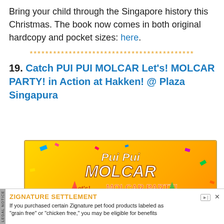Bring your child through the Singapore history this Christmas. The book now comes in both original hardcopy and pocket sizes: here.
******************************************
19. Catch PUI PUI MOLCAR Let's! MOLCAR PARTY! in Action at Hakken! @ Plaza Singapura
[Figure (illustration): Promotional banner for Pui Pui Molcar Let's! Molcar Party! event, showing colorful characters on a yellow background with confetti decorations]
ZIGNATURE SETTLEMENT
If you purchased certain Zignature pet food products labeled as "grain free" or "chicken free," you may be eligible for benefits